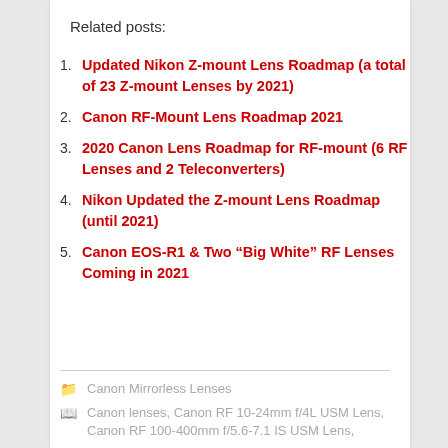Related posts:
Updated Nikon Z-mount Lens Roadmap (a total of 23 Z-mount Lenses by 2021)
Canon RF-Mount Lens Roadmap 2021
2020 Canon Lens Roadmap for RF-mount (6 RF Lenses and 2 Teleconverters)
Nikon Updated the Z-mount Lens Roadmap (until 2021)
Canon EOS-R1 & Two “Big White” RF Lenses Coming in 2021
Canon Mirrorless Lenses
Canon lenses, Canon RF 10-24mm f/4L USM Lens, Canon RF 100-400mm f/5.6-7.1 IS USM Lens,